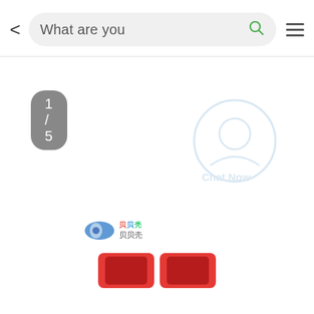[Figure (screenshot): Mobile app search bar with back arrow, search input showing 'What are you', green search icon, and hamburger menu icon]
1 / 5
[Figure (photo): Product image area showing a brand logo (oval shape with 贝贝壳 text in rainbow colors) and partial red product at bottom]